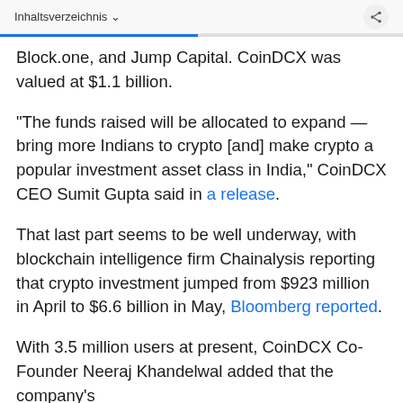Inhaltsverzeichnis
Block.one, and Jump Capital. CoinDCX was valued at $1.1 billion.
“The funds raised will be allocated to expand — bring more Indians to crypto [and] make crypto a popular investment asset class in India,” CoinDCX CEO Sumit Gupta said in a release.
That last part seems to be well underway, with blockchain intelligence firm Chainalysis reporting that crypto investment jumped from $923 million in April to $6.6 billion in May, Bloomberg reported.
With 3.5 million users at present, CoinDCX Co-Founder Neeraj Khandelwal added that the company’s